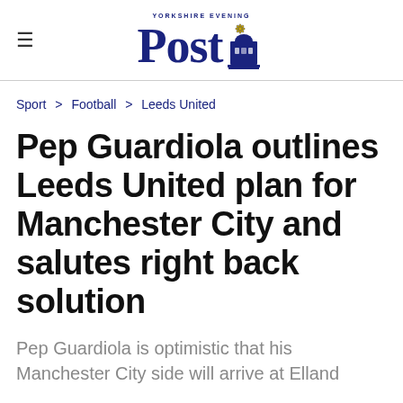Yorkshire Evening Post
Sport > Football > Leeds United
Pep Guardiola outlines Leeds United plan for Manchester City and salutes right back solution
Pep Guardiola is optimistic that his Manchester City side will arrive at Elland